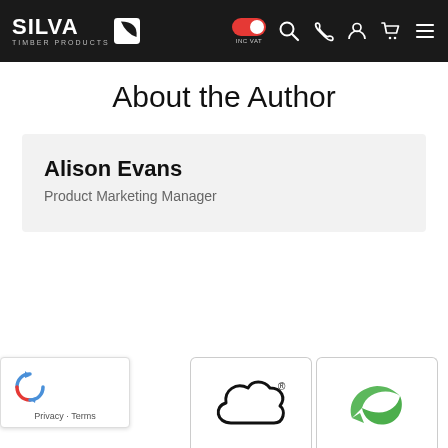SILVA TIMBER PRODUCTS — site navigation header with INC VAT toggle, search, phone, account, cart, and menu icons
About the Author
Alison Evans
Product Marketing Manager
[Figure (logo): reCAPTCHA badge with Privacy and Terms links]
[Figure (logo): Black cloud shape with registered trademark symbol]
[Figure (logo): Green circular arrow logo]